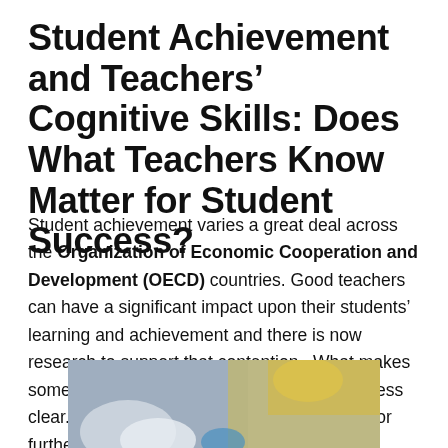Student Achievement and Teachers' Cognitive Skills: Does What Teachers Know Matter for Student Success?
Student achievement varies a great deal across the Organization of Economic Cooperation and Development (OECD) countries. Good teachers can have a significant impact upon their students' learning and achievement and there is now research to support that contention. What makes some teachers more effective than others is less clear. It remains one question that cries out for further in-depth study.
[Figure (photo): Partial photograph of a colorful abstract or world map image, showing blue-grey, yellow, and white tones, cropped at the bottom of the page.]